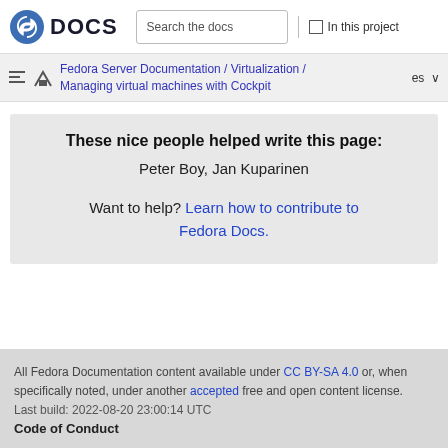DOCS  Search the docs  In this project
Fedora Server Documentation / Virtualization / Managing virtual machines with Cockpit  es
These nice people helped write this page:
Peter Boy, Jan Kuparinen
Want to help? Learn how to contribute to Fedora Docs.
All Fedora Documentation content available under CC BY-SA 4.0 or, when specifically noted, under another accepted free and open content license.
Last build: 2022-08-20 23:00:14 UTC
Code of Conduct